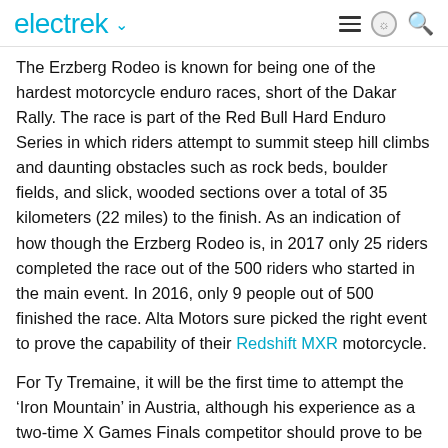electrek
The Erzberg Rodeo is known for being one of the hardest motorcycle enduro races, short of the Dakar Rally. The race is part of the Red Bull Hard Enduro Series in which riders attempt to summit steep hill climbs and daunting obstacles such as rock beds, boulder fields, and slick, wooded sections over a total of 35 kilometers (22 miles) to the finish. As an indication of how though the Erzberg Rodeo is, in 2017 only 25 riders completed the race out of the 500 riders who started in the main event. In 2016, only 9 people out of 500 finished the race. Alta Motors sure picked the right event to prove the capability of their Redshift MXR motorcycle.
For Ty Tremaine, it will be the first time to attempt the ‘Iron Mountain’ in Austria, although his experience as a two-time X Games Finals competitor should prove to be more than adequate preparation.
“Having the opportunity to make history by riding the first electric is an honor,” commented